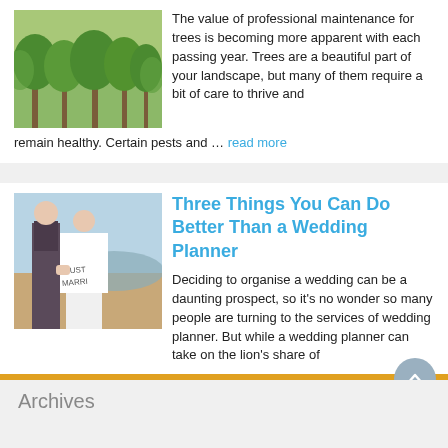[Figure (photo): Green trees in a park or forest]
The value of professional maintenance for trees is becoming more apparent with each passing year. Trees are a beautiful part of your landscape, but many of them require a bit of care to thrive and remain healthy. Certain pests and … read more
[Figure (photo): Wedding couple holding hands, bride's dress says 'JUST MARRIED']
Three Things You Can Do Better Than a Wedding Planner
Deciding to organise a wedding can be a daunting prospect, so it's no wonder so many people are turning to the services of wedding planner. But while a wedding planner can take on the lion's share of the project management … read more
Archives